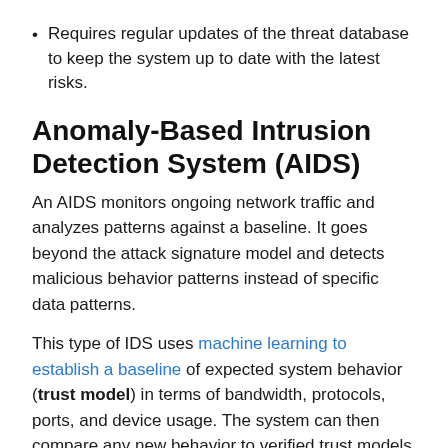Requires regular updates of the threat database to keep the system up to date with the latest risks.
Anomaly-Based Intrusion Detection System (AIDS)
An AIDS monitors ongoing network traffic and analyzes patterns against a baseline. It goes beyond the attack signature model and detects malicious behavior patterns instead of specific data patterns.
This type of IDS uses machine learning to establish a baseline of expected system behavior (trust model) in terms of bandwidth, protocols, ports, and device usage. The system can then compare any new behavior to verified trust models and discover unknown attacks a signature-based IDS cannot identify.